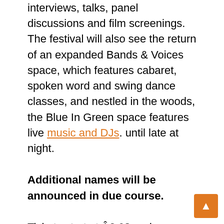interviews, talks, panel discussions and film screenings. The festival will also see the return of an expanded Bands & Voices space, which features cabaret, spoken word and swing dance classes, and nestled in the woods, the Blue In Green space features live music and DJs. until late at night.
Additional names will be announced in due course.
Tickets start at Â£ 63 and are available at www.lovesupremefestival.com
For more information, please contact Tom Fletcher: tom@baxterpr.com // 07583197407 // www.baxterpr.com